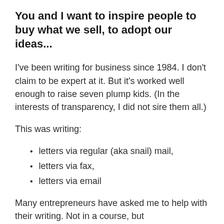You and I want to inspire people to buy what we sell, to adopt our ideas...
I've been writing for business since 1984. I don't claim to be expert at it. But it's worked well enough to raise seven plump kids. (In the interests of transparency, I did not sire them all.)
This was writing:
letters via regular (aka snail) mail,
letters via fax,
letters via email
Many entrepreneurs have asked me to help with their writing. Not in a course, but